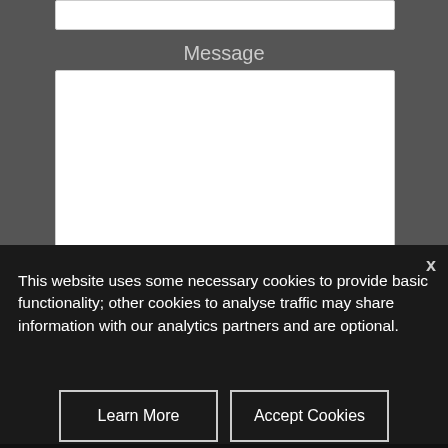Message
[Figure (screenshot): White textarea input box for message field]
Spam filter
In the sentance 'Just A Guy Coding' what is the first word?
This website uses some necessary cookies to provide basic functionality; other cookies to analyse traffic may share information with our analytics partners and are optional.
Learn More
Accept Cookies